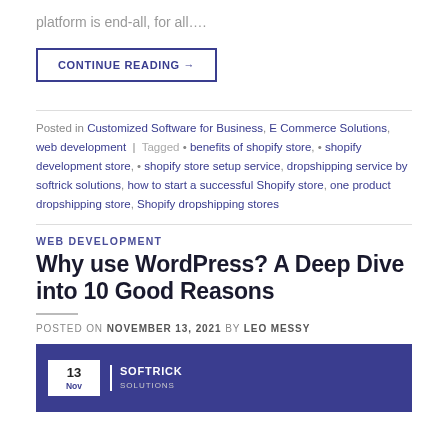platform is end-all, for all….
CONTINUE READING →
Posted in Customized Software for Business, E Commerce Solutions, web development | Tagged • benefits of shopify store, • shopify development store, • shopify store setup service, dropshipping service by softrick solutions, how to start a successful Shopify store, one product dropshipping store, Shopify dropshipping stores
WEB DEVELOPMENT
Why use WordPress? A Deep Dive into 10 Good Reasons
POSTED ON NOVEMBER 13, 2021 BY LEO MESSY
[Figure (other): Blog post featured image with dark navy/purple background, showing a date badge '13 Nov' in white box and Softrick Solutions logo in white text]